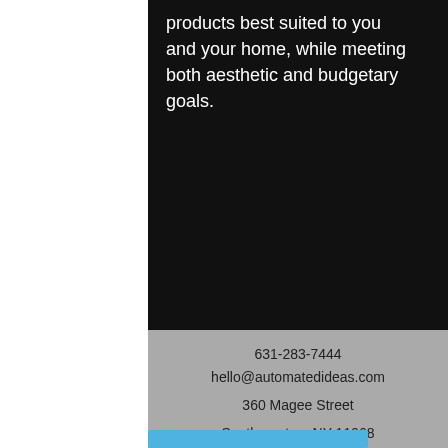products best suited to you and your home, while meeting both aesthetic and budgetary goals.
631-283-7444
hello@automatedideas.com
360 Magee Street
Southampton, NY 11968